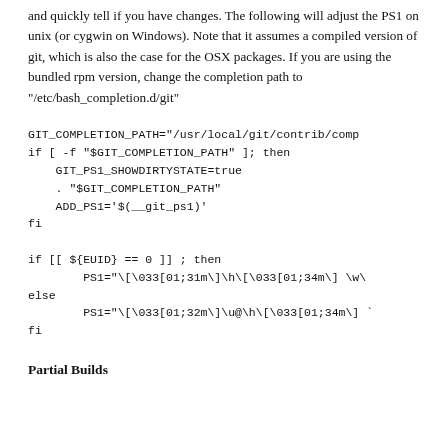and quickly tell if you have changes. The following will adjust the PS1 on unix (or cygwin on Windows). Note that it assumes a compiled version of git, which is also the case for the OSX packages. If you are using the bundled rpm version, change the completion path to "/etc/bash_completion.d/git"
GIT_COMPLETION_PATH="/usr/local/git/contrib/comp
if [ -f "$GIT_COMPLETION_PATH" ]; then
    GIT_PS1_SHOWDIRTYSTATE=true
    . "$GIT_COMPLETION_PATH"
    ADD_PS1='$(__git_ps1)'
fi

if [[ ${EUID} == 0 ]] ; then
        PS1="\[\033[01;31m\]\h\[\033[01;34m\] \w\
else
        PS1="\[\033[01;32m\]\u@\h\[\033[01;34m\] `
fi
Partial Builds